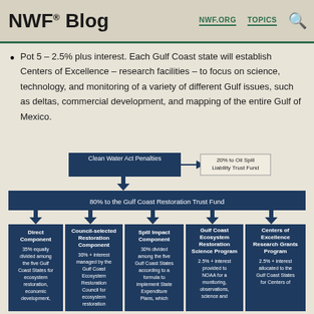NWF® Blog | NWF.ORG | TOPICS
Pot 5 – 2.5% plus interest. Each Gulf Coast state will establish Centers of Excellence – research facilities – to focus on science, technology, and monitoring of a variety of different Gulf issues, such as deltas, commercial development, and mapping of the entire Gulf of Mexico.
[Figure (flowchart): Flowchart showing Clean Water Act Penalties split: 20% to Oil Spill Liability Trust Fund, 80% to the Gulf Coast Restoration Trust Fund, which branches into five components: Direct Component (35%), Council-selected Restoration Component (30% + interest), Spill Impact Component (30%), Gulf Coast Ecosystem Restoration Science Program (2.5% + interest), and Centers of Excellence Research Grants Program (2.5% + interest)]